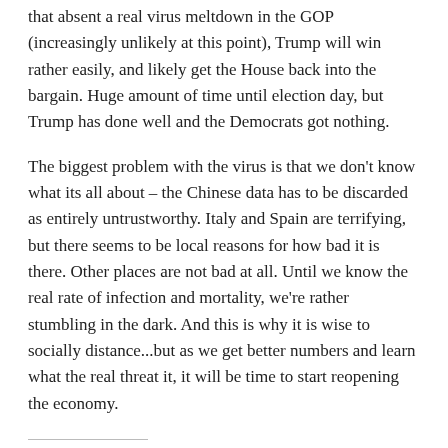that absent a real virus meltdown in the GOP (increasingly unlikely at this point), Trump will win rather easily, and likely get the House back into the bargain. Huge amount of time until election day, but Trump has done well and the Democrats got nothing.
The biggest problem with the virus is that we don't know what its all about – the Chinese data has to be discarded as entirely untrustworthy. Italy and Spain are terrifying, but there seems to be local reasons for how bad it is there. Other places are not bad at all. Until we know the real rate of infection and mortality, we're rather stumbling in the dark. And this is why it is wise to socially distance...but as we get better numbers and learn what the real threat it, it will be time to start reopening the economy.
Share this: